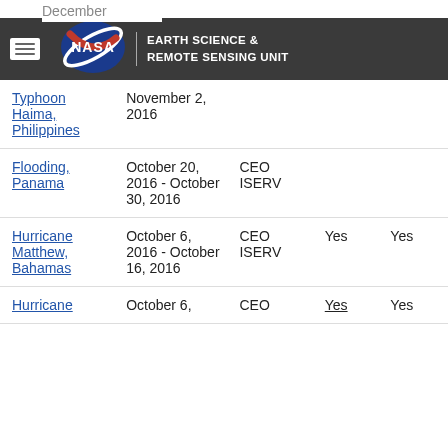NASA Earth Science & Remote Sensing Unit
| Event | Date | Sensor | Col4 | Col5 |
| --- | --- | --- | --- | --- |
| Typhoon Haima, Philippines | November 2, 2016 |  |  |  |
| Flooding, Panama | October 20, 2016 - October 30, 2016 | CEO ISERV |  |  |
| Hurricane Matthew, Bahamas | October 6, 2016 - October 16, 2016 | CEO ISERV | Yes | Yes |
| Hurricane | October 6, | CEO | Yes | Yes |